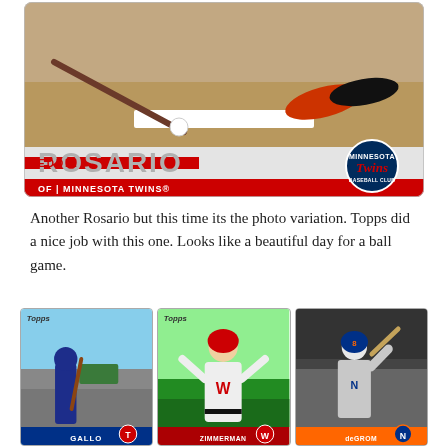[Figure (photo): Topps baseball card for Eddie Rosario, Minnesota Twins outfielder. Shows home plate area with bat and ball on dirt. Card has grey nameplate with large ROSARIO lettering, red EDDIE strip, and red bar reading OF | MINNESOTA TWINS. Minnesota Twins logo in lower right corner.]
Another Rosario but this time its the photo variation. Topps did a nice job with this one. Looks like a beautiful day for a ball game.
[Figure (photo): Three Topps baseball cards side by side: (1) Gallo, Texas Rangers, player bending down with bat; (2) Zimmerman, Washington Nationals, player standing with arms raised; (3) deGrom, New York Mets, player at bat in swing stance.]